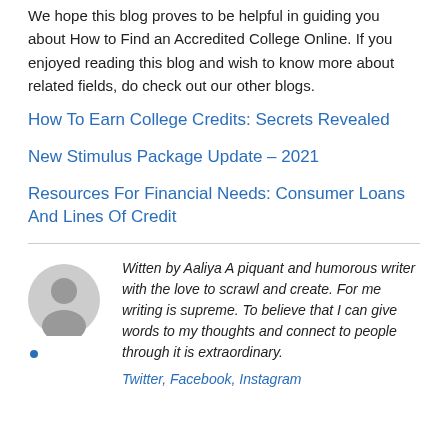We hope this blog proves to be helpful in guiding you about How to Find an Accredited College Online. If you enjoyed reading this blog and wish to know more about related fields, do check out our other blogs.
How To Earn College Credits: Secrets Revealed
New Stimulus Package Update – 2021
Resources For Financial Needs: Consumer Loans And Lines Of Credit
[Figure (illustration): Generic grey avatar/profile icon showing a silhouette of a person]
Witten by Aaliya A piquant and humorous writer with the love to scrawl and create. For me writing is supreme. To believe that I can give words to my thoughts and connect to people through it is extraordinary.
Twitter, Facebook, Instagram